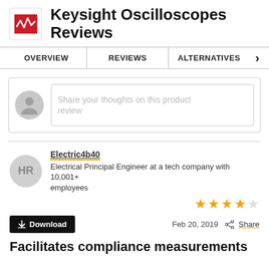Keysight Oscilloscopes Reviews
OVERVIEW | REVIEWS | ALTERNATIVES
Share your thoughts on this product review
Electric4b40
Electrical Principal Engineer at a tech company with 10,001+ employees
4 out of 5 stars
Feb 20, 2019  Share
Download
Facilitates compliance measurements